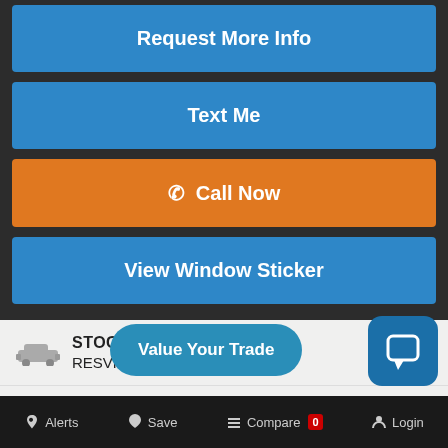Request More Info
Text Me
Call Now
View Window Sticker
| Field | Value |
| --- | --- |
| STOCK | RESVHVWZ490 |
| VIN | 1FMCU0EG8BHV... |
| CONDITION |  |
Value Your Trade
Alerts  Save  Compare 0  Login